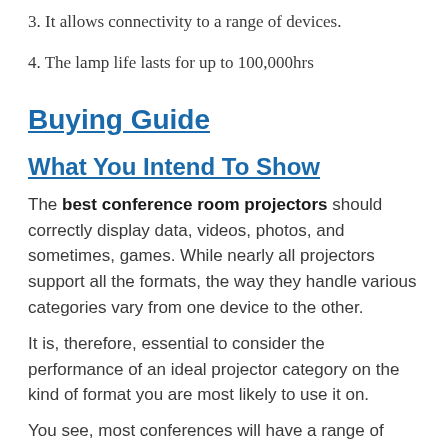3. It allows connectivity to a range of devices.
4. The lamp life lasts for up to 100,000hrs
Buying Guide
What You Intend To Show
The best conference room projectors should correctly display data, videos, photos, and sometimes, games. While nearly all projectors support all the formats, the way they handle various categories vary from one device to the other.
It is, therefore, essential to consider the performance of an ideal projector category on the kind of format you are most likely to use it on.
You see, most conferences will have a range of PDF